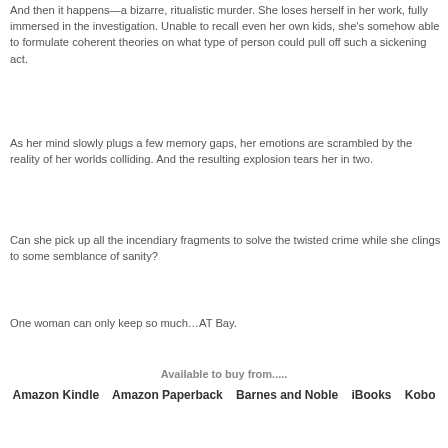And then it happens—a bizarre, ritualistic murder. She loses herself in her work, fully immersed in the investigation. Unable to recall even her own kids, she's somehow able to formulate coherent theories on what type of person could pull off such a sickening act.
As her mind slowly plugs a few memory gaps, her emotions are scrambled by the reality of her worlds colliding. And the resulting explosion tears her in two.
Can she pick up all the incendiary fragments to solve the twisted crime while she clings to some semblance of sanity?
One woman can only keep so much…AT Bay.
Available to buy from.....
Amazon Kindle    Amazon Paperback    Barnes and Noble    iBooks    Kobo